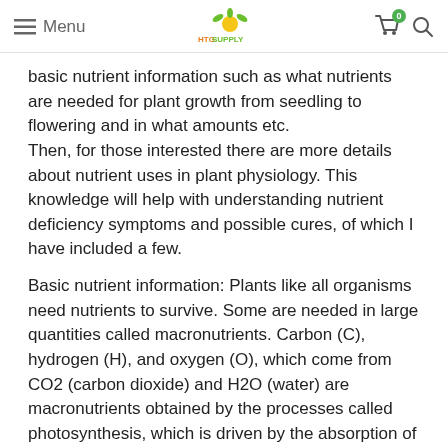Menu | HTG SUPPLY | Cart (0) | Search
basic nutrient information such as what nutrients are needed for plant growth from seedling to flowering and in what amounts etc. Then, for those interested there are more details about nutrient uses in plant physiology. This knowledge will help with understanding nutrient deficiency symptoms and possible cures, of which I have included a few.
Basic nutrient information: Plants like all organisms need nutrients to survive. Some are needed in large quantities called macronutrients. Carbon (C), hydrogen (H), and oxygen (O), which come from CO2 (carbon dioxide) and H2O (water) are macronutrients obtained by the processes called photosynthesis, which is driven by the absorption of light energy (see Light